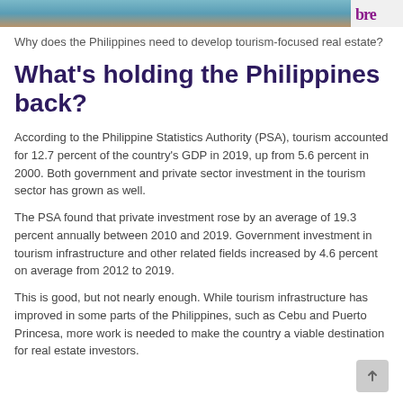[Figure (photo): Coastal/beach scene with water and rocks, with a logo in the top right corner showing 'bre' in purple]
Why does the Philippines need to develop tourism-focused real estate?
What's holding the Philippines back?
According to the Philippine Statistics Authority (PSA), tourism accounted for 12.7 percent of the country's GDP in 2019, up from 5.6 percent in 2000. Both government and private sector investment in the tourism sector has grown as well.
The PSA found that private investment rose by an average of 19.3 percent annually between 2010 and 2019. Government investment in tourism infrastructure and other related fields increased by 4.6 percent on average from 2012 to 2019.
This is good, but not nearly enough. While tourism infrastructure has improved in some parts of the Philippines, such as Cebu and Puerto Princesa, more work is needed to make the country a viable destination for real estate investors.